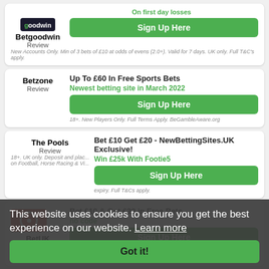Betgoodwin Review — On first day losses — Sign Up Here
New Accounts Only. Min of 3 bets of £10 at odds of evens (2.0+). Valid for 7 days. UK only. Full T&C's apply.
Betzone Review — Up To £60 In Free Sports Bets — Newest betting site in March 2022 — Sign Up Here
18+. New Players Only. Full Terms Apply. BeGambleAware.org
The Pools Review — Bet £10 Get £20 - NewBettingSites.UK Exclusive! — Win £25k With Footie5 — Sign Up Here
18+. UK only. Deposit and place bets on Football, Horse Racing & Vi... expiry. Full T&Cs apply.
Bet £10 & Get £30 in Free Bets — BetUK Review — Sign Up Here
This website uses cookies to ensure you get the best experience on our website. Learn more
Got it!